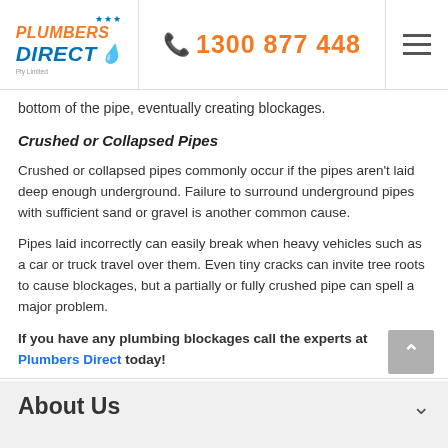[Figure (logo): Plumbers Direct Pty Limited logo with orange and blue text and stars]
1300 877 448
bottom of the pipe, eventually creating blockages.
Crushed or Collapsed Pipes
Crushed or collapsed pipes commonly occur if the pipes aren't laid deep enough underground. Failure to surround underground pipes with sufficient sand or gravel is another common cause.
Pipes laid incorrectly can easily break when heavy vehicles such as a car or truck travel over them. Even tiny cracks can invite tree roots to cause blockages, but a partially or fully crushed pipe can spell a major problem.
If you have any plumbing blockages call the experts at Plumbers Direct today!
About Us